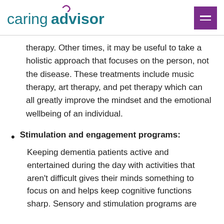caringadvisor
therapy. Other times, it may be useful to take a holistic approach that focuses on the person, not the disease. These treatments include music therapy, art therapy, and pet therapy which can all greatly improve the mindset and the emotional wellbeing of an individual.
Stimulation and engagement programs: Keeping dementia patients active and entertained during the day with activities that aren't difficult gives their minds something to focus on and helps keep cognitive functions sharp. Sensory and stimulation programs are